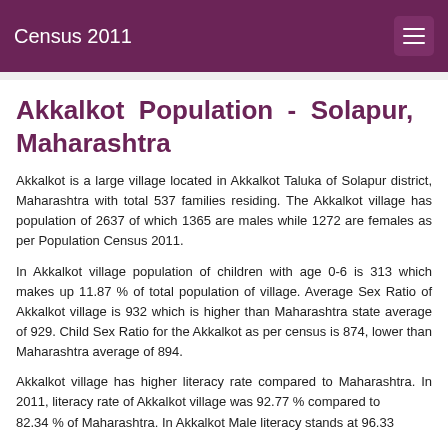Census 2011
Akkalkot Population - Solapur, Maharashtra
Akkalkot is a large village located in Akkalkot Taluka of Solapur district, Maharashtra with total 537 families residing. The Akkalkot village has population of 2637 of which 1365 are males while 1272 are females as per Population Census 2011.
In Akkalkot village population of children with age 0-6 is 313 which makes up 11.87 % of total population of village. Average Sex Ratio of Akkalkot village is 932 which is higher than Maharashtra state average of 929. Child Sex Ratio for the Akkalkot as per census is 874, lower than Maharashtra average of 894.
Akkalkot village has higher literacy rate compared to Maharashtra. In 2011, literacy rate of Akkalkot village was 92.77 % compared to 82.34 % of Maharashtra. In Akkalkot Male literacy stands at 96.33